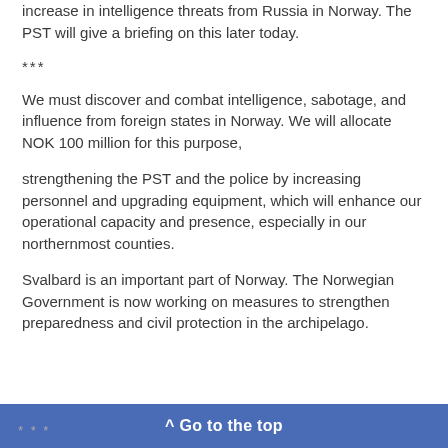increase in intelligence threats from Russia in Norway. The PST will give a briefing on this later today.
***
We must discover and combat intelligence, sabotage, and influence from foreign states in Norway. We will allocate NOK 100 million for this purpose,
strengthening the PST and the police by increasing personnel and upgrading equipment, which will enhance our operational capacity and presence, especially in our northernmost counties.
Svalbard is an important part of Norway. The Norwegian Government is now working on measures to strengthen preparedness and civil protection in the archipelago.
^ Go to the top